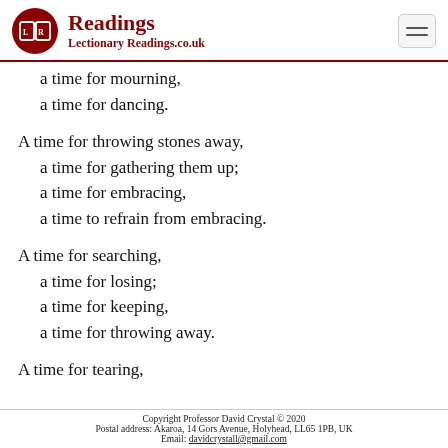Readings — Lectionary Readings.co.uk
a time for mourning,
a time for dancing.
A time for throwing stones away,
  a time for gathering them up;
  a time for embracing,
  a time to refrain from embracing.
A time for searching,
  a time for losing;
  a time for keeping,
  a time for throwing away.
A time for tearing,
Copyright Professor David Crystal © 2020
Postal address: Akaroa, 14 Gors Avenue, Holyhead, LL65 1PB, UK
Email: davidcrystall@gmail.com